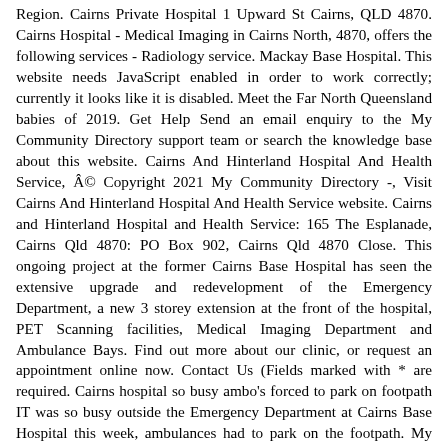Region. Cairns Private Hospital 1 Upward St Cairns, QLD 4870. Cairns Hospital - Medical Imaging in Cairns North, 4870, offers the following services - Radiology service. Mackay Base Hospital. This website needs JavaScript enabled in order to work correctly; currently it looks like it is disabled. Meet the Far North Queensland babies of 2019. Get Help Send an email enquiry to the My Community Directory support team or search the knowledge base about this website. Cairns And Hinterland Hospital And Health Service, © Copyright 2021 My Community Directory -, Visit Cairns And Hinterland Hospital And Health Service website. Cairns and Hinterland Hospital and Health Service: 165 The Esplanade, Cairns Qld 4870: PO Box 902, Cairns Qld 4870 Close. This ongoing project at the former Cairns Base Hospital has seen the extensive upgrade and redevelopment of the Emergency Department, a new 3 storey extension at the front of the hospital, PET Scanning facilities, Medical Imaging Department and Ambulance Bays. Find out more about our clinic, or request an appointment online now. Contact Us (Fields marked with * are required. Cairns hospital so busy ambo's forced to park on footpath IT was so busy outside the Emergency Department at Cairns Base Hospital this week, ambulances had to park on the footpath. My Community Directory would like to thank the following partners. Cairns Private Hospital in tropical Cairns in far north Queensland, Australia, is a modern, well-equipped facility which offers a comprehensive range of medical and allied services. A N+1 power solution combined with a custom contact detection system that...